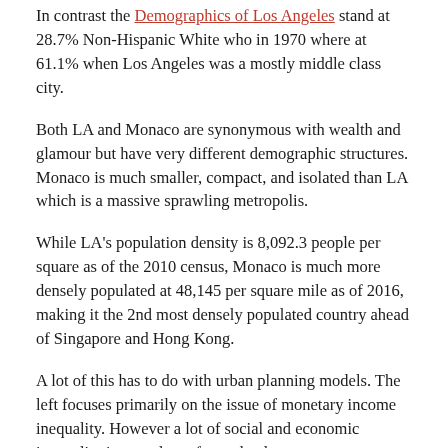In contrast the Demographics of Los Angeles stand at 28.7% Non-Hispanic White who in 1970 where at 61.1% when Los Angeles was a mostly middle class city.
Both LA and Monaco are synonymous with wealth and glamour but have very different demographic structures. Monaco is much smaller, compact, and isolated than LA which is a massive sprawling metropolis.
While LA's population density is 8,092.3 people per square as of the 2010 census, Monaco is much more densely populated at 48,145 per square mile as of 2016, making it the 2nd most densely populated country ahead of Singapore and Hong Kong.
A lot of this has to do with urban planning models. The left focuses primarily on the issue of monetary income inequality. However a lot of social and economic inequality is a product of poor land use.